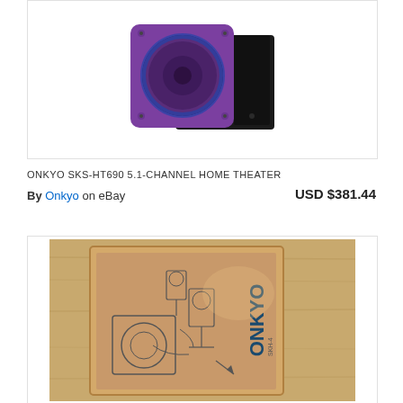[Figure (photo): Purple Onkyo subwoofer/speaker unit shown at an angle against a white background]
ONKYO SKS-HT690 5.1-CHANNEL HOME THEATER
By Onkyo on eBay  USD $381.44
[Figure (photo): Photo of Onkyo product box on a wooden surface, showing a line drawing of speaker system components and the ONKYO logo]